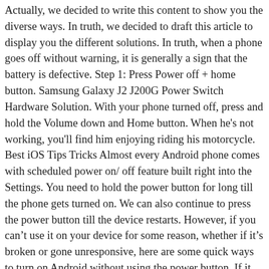Actually, we decided to write this content to show you the diverse ways. In truth, we decided to draft this article to display you the different solutions. In truth, when a phone goes off without warning, it is generally a sign that the battery is defective. Step 1: Press Power off + home button. Samsung Galaxy J2 J200G Power Switch Hardware Solution. With your phone turned off, press and hold the Volume down and Home button. When he's not working, you'll find him enjoying riding his motorcycle. Best iOS Tips Tricks Almost every Android phone comes with scheduled power on/ off feature built right into the Settings. You need to hold the power button for long till the phone gets turned on. We can also continue to press the power button till the device restarts. However, if you can't use it on your device for some reason, whether if it's broken or gone unresponsive, here are some quick ways to turn on Android without using the power button. If it still does not work, consider charging your Samsung phone (core, Active, J7 Nxt, Samsung Tab 10) for